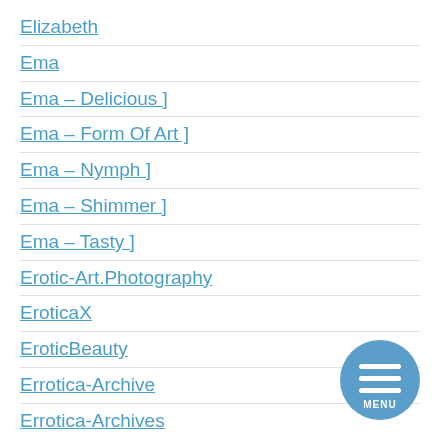Elizabeth
Ema
Ema – Delicious ]
Ema – Form Of Art ]
Ema – Nymph ]
Ema – Shimmer ]
Ema – Tasty ]
Erotic-Art.Photography
EroticaX
EroticBeauty
Errotica-Archive
Errotica-Archives
[Figure (other): Circular menu button with three horizontal white lines and MENU text on blue background]